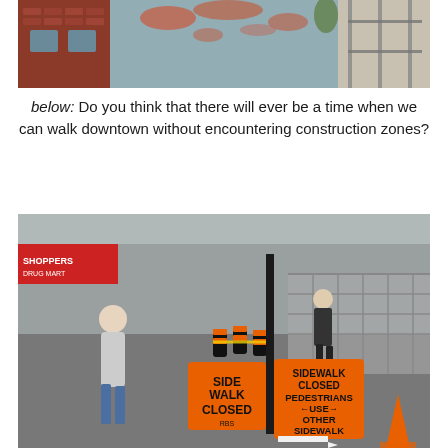[Figure (photo): Urban street scene showing brick buildings, a large grey-blue wall with peeling paint, and construction scaffolding on the right side.]
below: Do you think that there will ever be a time when we can walk downtown without encountering construction zones?
[Figure (photo): Downtown street scene with a construction zone, orange 'SIDEWALK CLOSED' signs and 'SIDEWALK CLOSED PEDESTRIANS USE OTHER SIDEWALK' signs on a lamp post, orange pylons, and a woman walking past.]